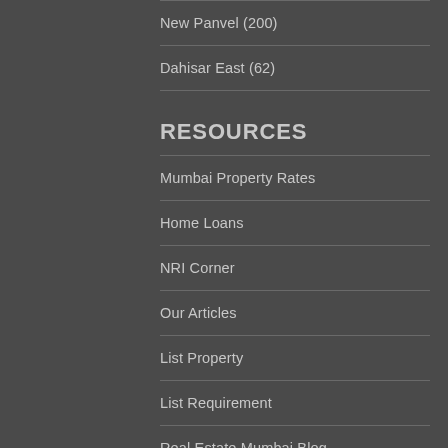New Panvel (200)
Dahisar East (62)
RESOURCES
Mumbai Property Rates
Home Loans
NRI Corner
Our Articles
List Property
List Requirement
Real Estate Mumbai Blog
Mumbai Real Estate News
Builders
Research and Analysis